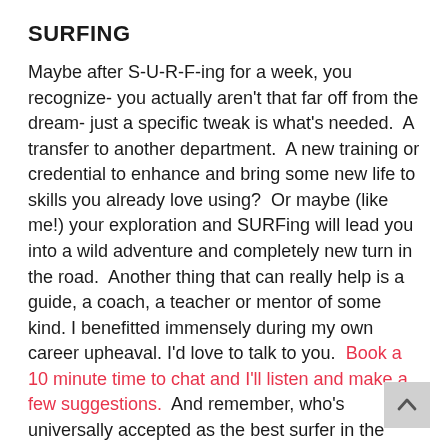SURFING
Maybe after S-U-R-F-ing for a week, you recognize- you actually aren't that far off from the dream- just a specific tweak is what's needed.  A transfer to another department.  A new training or credential to enhance and bring some new life to skills you already love using?  Or maybe (like me!) your exploration and SURFing will lead you into a wild adventure and completely new turn in the road.  Another thing that can really help is a guide, a coach, a teacher or mentor of some kind. I benefitted immensely during my own career upheaval. I'd love to talk to you.  Book a 10 minute time to chat and I'll listen and make a few suggestions.  And remember, who's universally accepted as the best surfer in the water by global experts? She's the one having the